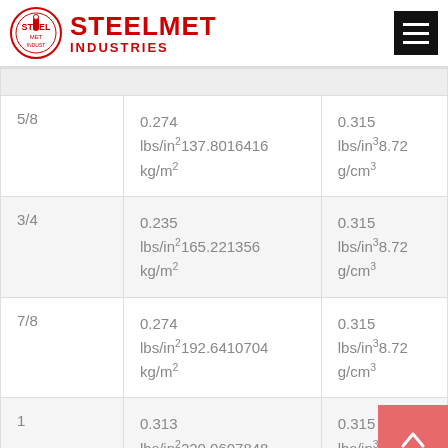[Figure (logo): Steelmet Industries logo with circular emblem and red bold text]
| Size | Weight | Density |
| --- | --- | --- |
| 5/8 | 0.196 lbs/in² 137.8016416 kg/m² | 0.315 lbs/in³ 8.72 g/cm³ |
| 3/4 | 0.235 lbs/in² 165.221356 kg/m² | 0.315 lbs/in³ 8.72 g/cm³ |
| 7/8 | 0.274 lbs/in² 192.6410704 kg/m² | 0.315 lbs/in³ 8.72 g/cm³ |
| 1 | 0.313 lbs/in² 220.0607848 kg/m² | 0.315 lbs/in³ 8.72 g/cm³ |